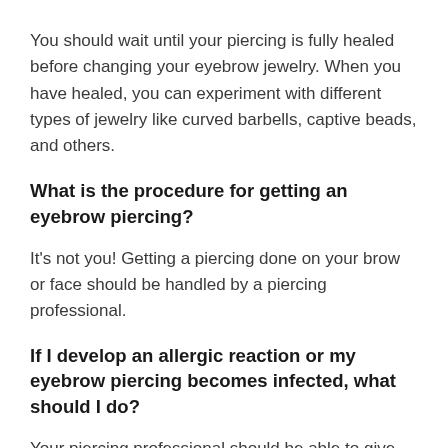You should wait until your piercing is fully healed before changing your eyebrow jewelry. When you have healed, you can experiment with different types of jewelry like curved barbells, captive beads, and others.
What is the procedure for getting an eyebrow piercing?
It's not you! Getting a piercing done on your brow or face should be handled by a piercing professional.
If I develop an allergic reaction or my eyebrow piercing becomes infected, what should I do?
Your piercing professional should be able to give you advice on allergies and infections. Additionally,